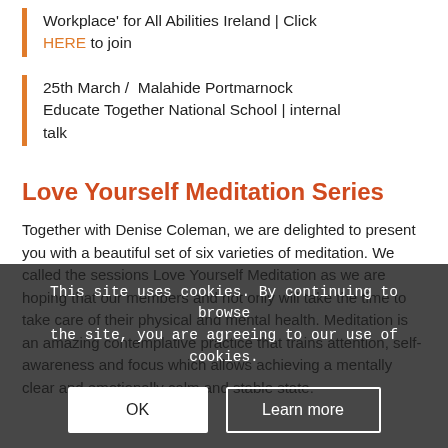Workplace' for All Abilities Ireland | Click HERE to join
25th March /  Malahide Portmarnock Educate Together National School | internal talk
Love Yourself Meditation Series
Together with Denise Coleman, we are delighted to present you with a beautiful set of six varieties of meditation. We called the sessions Love Yourself Meditation as we are hoping that our members and not only will take the time to take care of their physical and mental health. Meditation is an amazing contemplative practice that trains attention, self-awareness and focus which allows achieving a mentally clear and emotionally calm and stable state.
This site uses cookies. By continuing to browse the site, you are agreeing to our use of cookies.